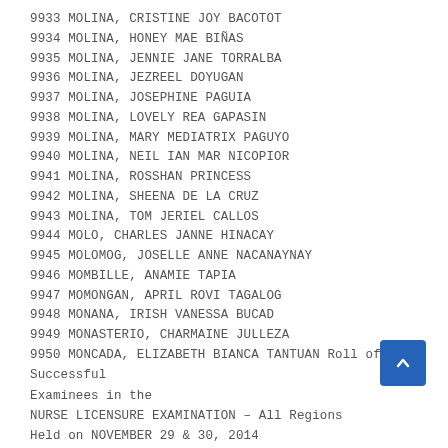9933 MOLINA, CRISTINE JOY BACOTOT
9934 MOLINA, HONEY MAE BIÑAS
9935 MOLINA, JENNIE JANE TORRALBA
9936 MOLINA, JEZREEL DOYUGAN
9937 MOLINA, JOSEPHINE PAGUIA
9938 MOLINA, LOVELY REA GAPASIN
9939 MOLINA, MARY MEDIATRIX PAGUYO
9940 MOLINA, NEIL IAN MAR NICOPIOR
9941 MOLINA, ROSSHAN PRINCESS
9942 MOLINA, SHEENA DE LA CRUZ
9943 MOLINA, TOM JERIEL CALLOS
9944 MOLO, CHARLES JANNE HINACAY
9945 MOLOMOG, JOSELLE ANNE NACANAYNAY
9946 MOMBILLE, ANAMIE TAPIA
9947 MOMONGAN, APRIL ROVI TAGALOG
9948 MONANA, IRISH VANESSA BUCAD
9949 MONASTERIO, CHARMAINE JULLEZA
9950 MONCADA, ELIZABETH BIANCA TANTUAN
Roll of Successful Examinees in the
NURSE LICENSURE EXAMINATION – All Regions
Held on NOVEMBER 29 & 30, 2014